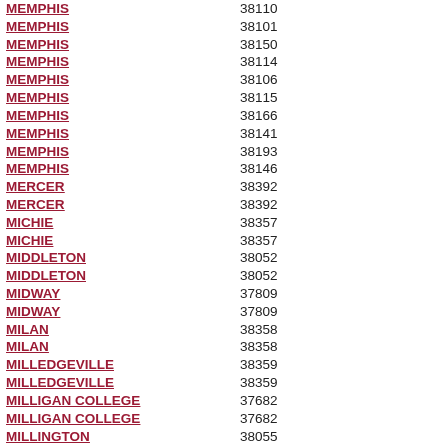| City | ZIP |
| --- | --- |
| MEMPHIS | 38110 |
| MEMPHIS | 38101 |
| MEMPHIS | 38150 |
| MEMPHIS | 38114 |
| MEMPHIS | 38106 |
| MEMPHIS | 38115 |
| MEMPHIS | 38166 |
| MEMPHIS | 38141 |
| MEMPHIS | 38193 |
| MEMPHIS | 38146 |
| MERCER | 38392 |
| MERCER | 38392 |
| MICHIE | 38357 |
| MICHIE | 38357 |
| MIDDLETON | 38052 |
| MIDDLETON | 38052 |
| MIDWAY | 37809 |
| MIDWAY | 37809 |
| MILAN | 38358 |
| MILAN | 38358 |
| MILLEDGEVILLE | 38359 |
| MILLEDGEVILLE | 38359 |
| MILLIGAN COLLEGE | 37682 |
| MILLIGAN COLLEGE | 37682 |
| MILLINGTON | 38055 |
| MILLINGTON | 38053 |